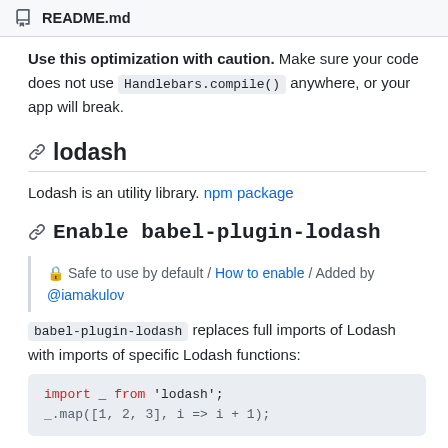README.md
Use this optimization with caution. Make sure your code does not use Handlebars.compile() anywhere, or your app will break.
lodash
Lodash is an utility library. npm package
Enable babel-plugin-lodash
🔒 Safe to use by default / How to enable / Added by @iamakulov
babel-plugin-lodash replaces full imports of Lodash with imports of specific Lodash functions:
import _ from 'lodash';
_.map([1, 2, 3], i => i + 1);